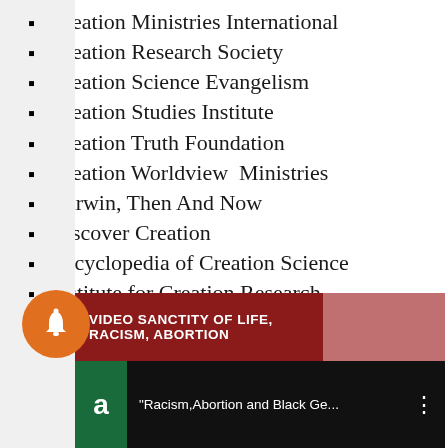Creation Ministries International
Creation Research Society
Creation Science Evangelism
Creation Studies Institute
Creation Truth Foundation
Creation Worldview  Ministries
Darwin, Then And Now
Discover Creation
Encyclopedia of Creation Science
Institute for Creation Research
Kolbe Center for the Study of Creation
[Figure (screenshot): Video banner with red and pink sections reading 'VIDEO SANCTITY OF LIFE, RACISM, ABORTION', notification bell button, and a YouTube video entry showing 'Racism,Abortion and Black Ge...']